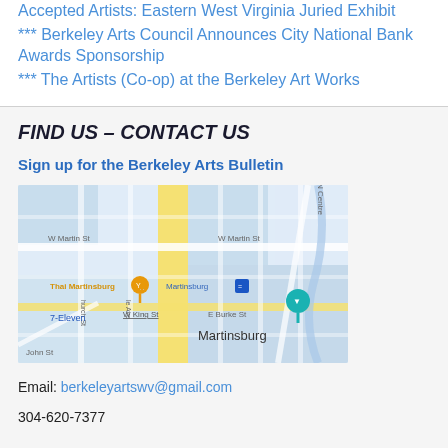Accepted Artists: Eastern West Virginia Juried Exhibit
*** Berkeley Arts Council Announces City National Bank Awards Sponsorship
*** The Artists (Co-op) at the Berkeley Art Works
FIND US – CONTACT US
Sign up for the Berkeley Arts Bulletin
[Figure (map): Street map of Martinsburg area showing W Martin St, W King St, E Burke St, N Centre, John St, and surrounding streets with markers for Thai Martinsburg, Martinsburg transit, and another location pin.]
Email: berkeleyartswv@gmail.com
304-620-7377